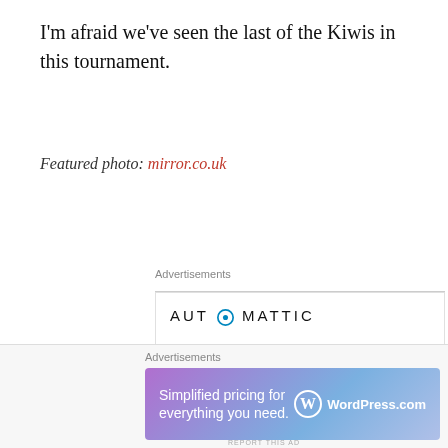I'm afraid we've seen the last of the Kiwis in this tournament.
Featured photo: mirror.co.uk
Advertisements
[Figure (infographic): Automattic advertisement: logo at top, tagline 'Build a better web and a better world.', Apply button, and circular photo of a person thinking]
Advertisements
[Figure (infographic): WordPress.com banner ad: 'Simplified pricing for everything you need.' with WordPress.com logo on a purple-blue gradient background]